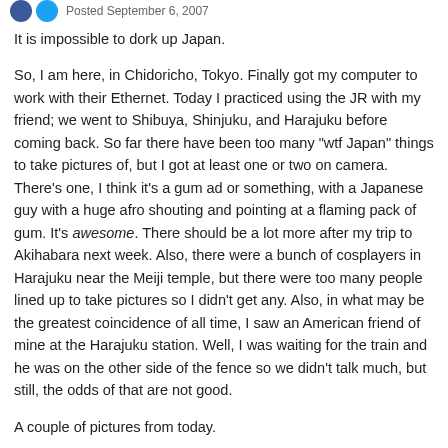Posted September 6, 2007
It is impossible to dork up Japan.
So, I am here, in Chidoricho, Tokyo. Finally got my computer to work with their Ethernet. Today I practiced using the JR with my friend; we went to Shibuya, Shinjuku, and Harajuku before coming back. So far there have been too many "wtf Japan" things to take pictures of, but I got at least one or two on camera. There's one, I think it's a gum ad or something, with a Japanese guy with a huge afro shouting and pointing at a flaming pack of gum. It's awesome. There should be a lot more after my trip to Akihabara next week. Also, there were a bunch of cosplayers in Harajuku near the Meiji temple, but there were too many people lined up to take pictures so I didn't get any. Also, in what may be the greatest coincidence of all time, I saw an American friend of mine at the Harajuku station. Well, I was waiting for the train and he was on the other side of the fence so we didn't talk much, but still, the odds of that are not good.
A couple of pictures from today.
Me in front of the sake barrels at the Meiji Temple in Harajuku: